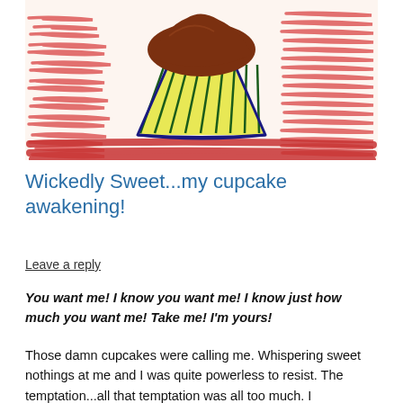[Figure (illustration): Child's crayon drawing of a cupcake with yellow/green wrapper, brown chocolate frosting on top, against a background of red horizontal crayon scribbles]
Wickedly Sweet...my cupcake awakening!
Leave a reply
You want me! I know you want me! I know just how much you want me! Take me! I'm yours!
Those damn cupcakes were calling me. Whispering sweet nothings at me and I was quite powerless to resist. The temptation...all that temptation was all too much. I